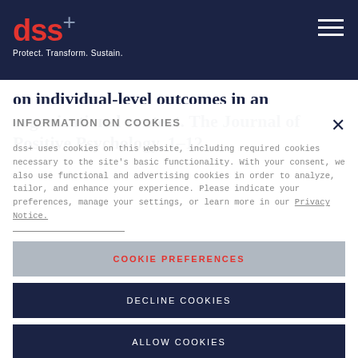dss+ Protect. Transform. Sustain.
on individual-level outcomes in an organizational context. The Journal of Positive Psychology, 1–12.
INFORMATION ON COOKIES
dss+ uses cookies on this website, including required cookies necessary to the site's basic functionality. With your consent, we also use functional and advertising cookies in order to analyze, tailor, and enhance your experience. Please indicate your preferences, manage your settings, or learn more in our Privacy Notice.
COOKIE PREFERENCES
DECLINE COOKIES
ALLOW COOKIES